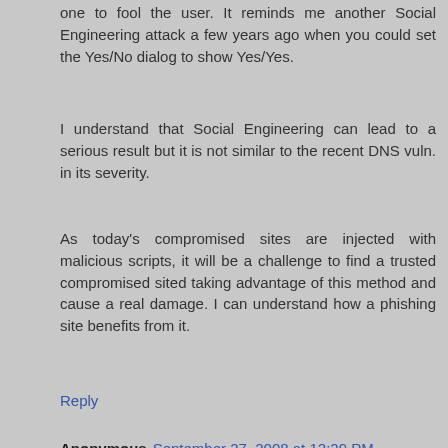one to fool the user. It reminds me another Social Engineering attack a few years ago when you could set the Yes/No dialog to show Yes/Yes.
I understand that Social Engineering can lead to a serious result but it is not similar to the recent DNS vuln. in its severity.
As today's compromised sites are injected with malicious scripts, it will be a challenge to find a trusted compromised sited taking advantage of this method and cause a real damage. I can understand how a phishing site benefits from it.
Reply
Anonymous September 27, 2008 at 12:29 PM
can 'help' in Ads click fraud. Let users click on your Ads while they think they click on something else ...
Reply